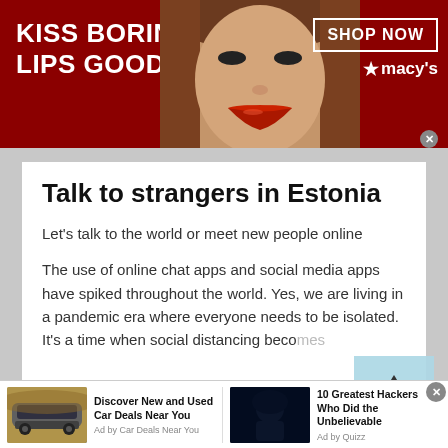[Figure (screenshot): Top banner advertisement for Macy's with red background, text 'KISS BORING LIPS GOODBYE', a woman's face with red lips, 'SHOP NOW' button, and Macy's star logo]
Talk to strangers in Estonia
Let's talk to the world or meet new people online
The use of online chat apps and social media apps have spiked throughout the world. Yes, we are living in a pandemic era where everyone needs to be isolated. It's a time when social distancing becomes
[Figure (screenshot): Bottom advertisement bar with two ads: 'Discover New and Used Car Deals Near You' by Car Deals Near You, and '10 Greatest Hackers Who Did the Unbelievable' by Quizz]